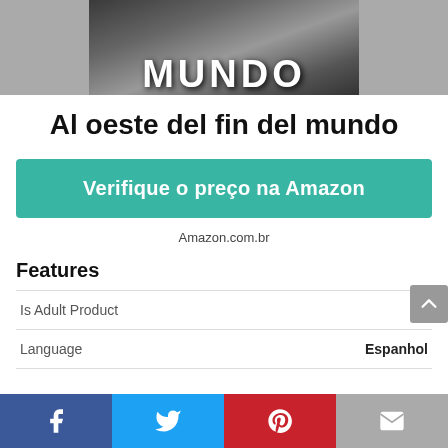[Figure (photo): Book cover image showing 'MUNDO' text in large white letters on a dark background]
Al oeste del fin del mundo
Verifique o preço na Amazon
Amazon.com.br
Features
|  |  |
| --- | --- |
| Is Adult Product |  |
| Language | Espanhol |
[Figure (infographic): Social sharing bar with Facebook, Twitter, Pinterest, and Email buttons]